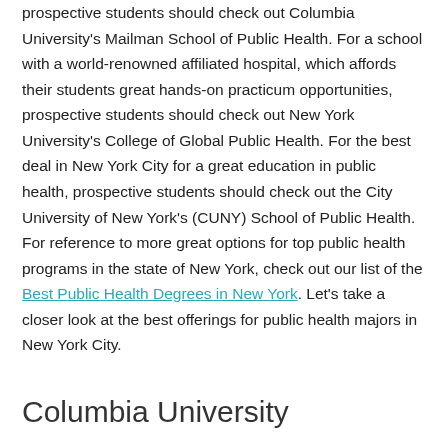prospective students should check out Columbia University's Mailman School of Public Health. For a school with a world-renowned affiliated hospital, which affords their students great hands-on practicum opportunities, prospective students should check out New York University's College of Global Public Health. For the best deal in New York City for a great education in public health, prospective students should check out the City University of New York's (CUNY) School of Public Health. For reference to more great options for top public health programs in the state of New York, check out our list of the Best Public Health Degrees in New York. Let's take a closer look at the best offerings for public health majors in New York City.
Columbia University